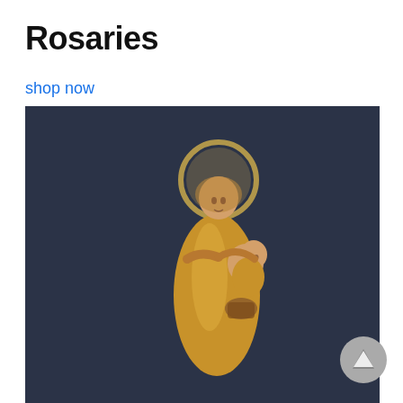Rosaries
shop now
[Figure (photo): Photograph of a Madonna and Child statue — a woman in golden robes with a golden halo holding a child, set against a dark navy background.]
[Figure (other): Grey circular scroll-to-top button with an upward-pointing triangle arrow.]